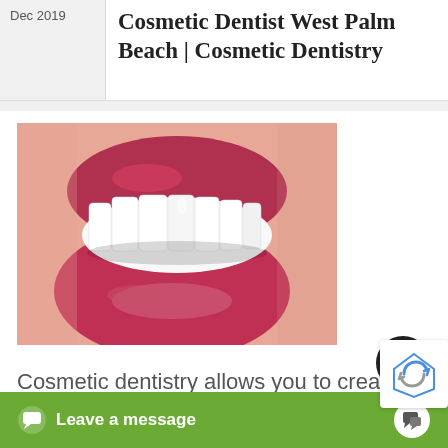Dec 2019
Cosmetic Dentist West Palm Beach | Cosmetic Dentistry
[Figure (photo): Close-up photo of a woman smiling showing bright white teeth with red lipstick]
Cosmetic dentistry allows you to create your ideal smile. With
Leave a message